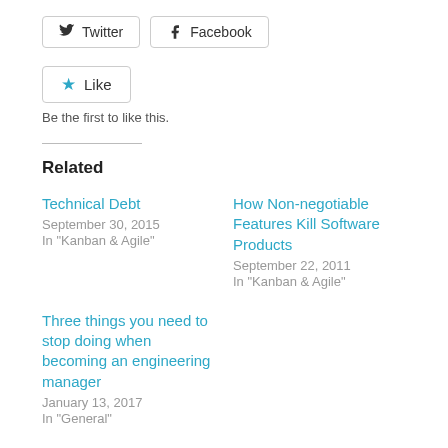Twitter
Facebook
Like
Be the first to like this.
Related
Technical Debt
September 30, 2015
In "Kanban & Agile"
How Non-negotiable Features Kill Software Products
September 22, 2011
In "Kanban & Agile"
Three things you need to stop doing when becoming an engineering manager
January 13, 2017
In "General"